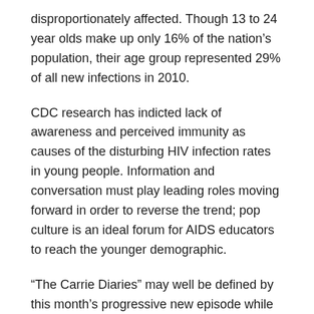disproportionately affected. Though 13 to 24 year olds make up only 16% of the nation's population, their age group represented 29% of all new infections in 2010.
CDC research has indicted lack of awareness and perceived immunity as causes of the disturbing HIV infection rates in young people. Information and conversation must play leading roles moving forward in order to reverse the trend; pop culture is an ideal forum for AIDS educators to reach the younger demographic.
“The Carrie Diaries” may well be defined by this month’s progressive new episode while affording additional opportunities to weave critical public health issues into the trendy fabric of its storyline.
– Casey Ernstes